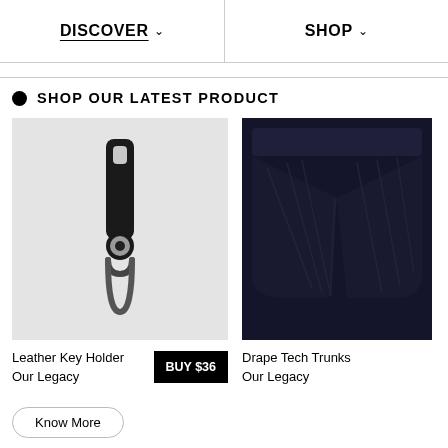DISCOVER   SHOP
SHOP OUR LATEST PRODUCT
[Figure (photo): Leather key holder with black strap and metal ring on light grey background]
Leather Key Holder
Our Legacy
BUY $36
[Figure (photo): Drape Tech Trunks shorts in dark navy, partially visible on right side]
Drape Tech Trunks
Our Legacy
Know More